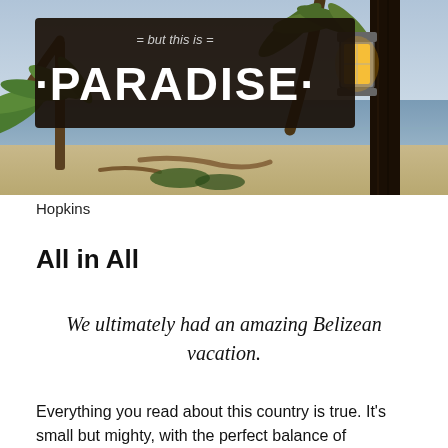[Figure (photo): A beach scene in Hopkins, Belize. A wooden sign in the foreground reads '= but this is = · PARADISE ·' in large white letters. Palm trees lean over a calm ocean in the background. An old-fashioned lantern hangs on the right side of a dark wooden post.]
Hopkins
All in All
We ultimately had an amazing Belizean vacation.
Everything you read about this country is true. It's small but mighty, with the perfect balance of adventure, unique